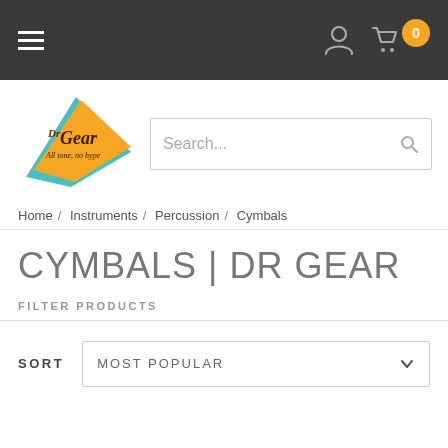≡  [user icon] [cart icon] 0
[Figure (logo): Dr Gear logo — orange triangle shape with teal accent, text 'Dr Gear All tone, no hype' in script font]
Search...
Home / Instruments / Percussion / Cymbals
CYMBALS | DR GEAR
FILTER PRODUCTS
SORT   MOST POPULAR